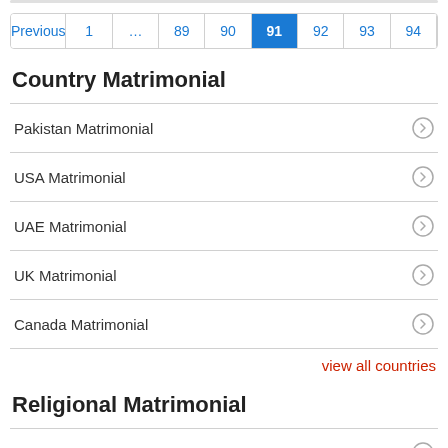Pagination: Previous 1 … 89 90 91 92 93 94
Country Matrimonial
Pakistan Matrimonial
USA Matrimonial
UAE Matrimonial
UK Matrimonial
Canada Matrimonial
view all countries
Religional Matrimonial
Muslim Matrimonial